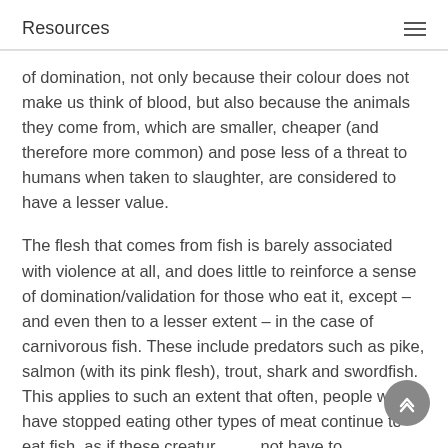Resources
of domination, not only because their colour does not make us think of blood, but also because the animals they come from, which are smaller, cheaper (and therefore more common) and pose less of a threat to humans when taken to slaughter, are considered to have a lesser value.
The flesh that comes from fish is barely associated with violence at all, and does little to reinforce a sense of domination/validation for those who eat it, except – and even then to a lesser extent – in the case of carnivorous fish. These include predators such as pike, salmon (with its pink flesh), trout, shark and swordfish. This applies to such an extent that often, people who have stopped eating other types of meat continue to eat fish, as if these creatures do not have to experience the same oppression, suffering and